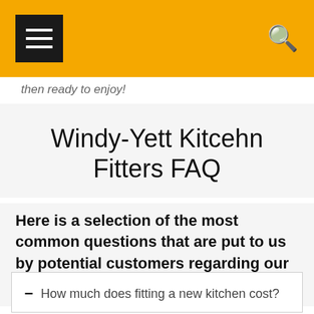Navigation header with hamburger menu and search icon
then ready to enjoy!
Windy-Yett Kitcehn Fitters FAQ
Here is a selection of the most common questions that are put to us by potential customers regarding our garage conversions in Glasgow:
– How much does fitting a new kitchen cost?